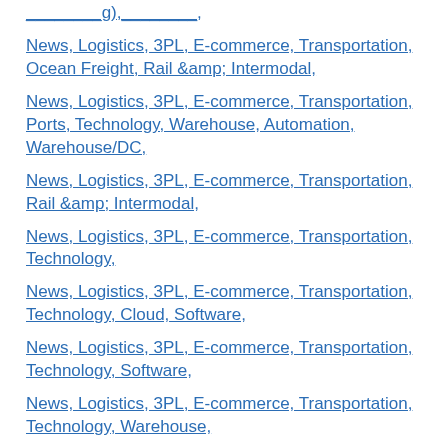________g),________,
News, Logistics, 3PL, E-commerce, Transportation, Ocean Freight, Rail &amp; Intermodal,
News, Logistics, 3PL, E-commerce, Transportation, Ports, Technology, Warehouse, Automation, Warehouse/DC,
News, Logistics, 3PL, E-commerce, Transportation, Rail &amp; Intermodal,
News, Logistics, 3PL, E-commerce, Transportation, Technology,
News, Logistics, 3PL, E-commerce, Transportation, Technology, Cloud, Software,
News, Logistics, 3PL, E-commerce, Transportation, Technology, Software,
News, Logistics, 3PL, E-commerce, Transportation, Technology, Warehouse,
News, Logistics, 3PL, E-commerce, Transportation, Technology, Warehouse, Warehouse/DC,